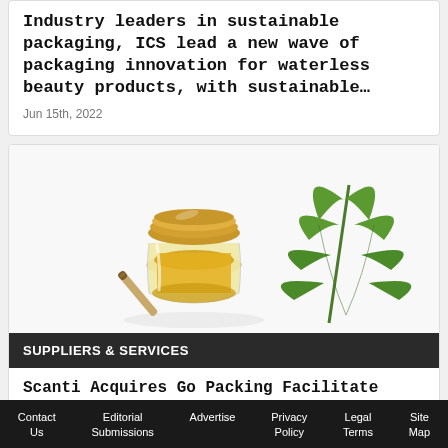Industry leaders in sustainable packaging, ICS lead a new wave of packaging innovation for waterless beauty products, with sustainable…
Jun 15th, 2022
[Figure (photo): Photo of a small glass jar with gold lid containing yellow/amber oil, a cannabis joint, and a green cannabis leaf on a white background]
SUPPLIERS & SERVICES
Scanti Acquires Go Packing Facilitate Expand...
Contact Us  Editorial Submissions  Advertise  Privacy Policy  Legal Terms  Site Map